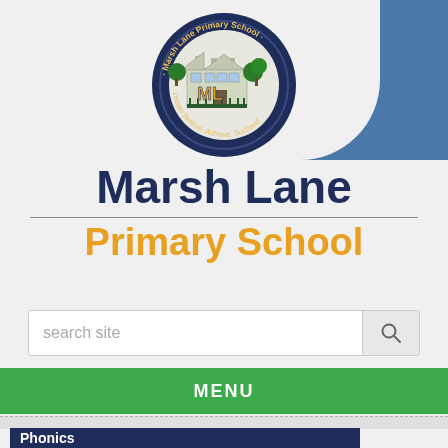[Figure (logo): Marsh Lane Primary School circular logo with school building, trees, and 'ML' letters. Text around circle: 'Marsh Lane Primary School' and 'Dream Believe Achieve Succeed']
Marsh Lane
Primary School
MENU
Phonics